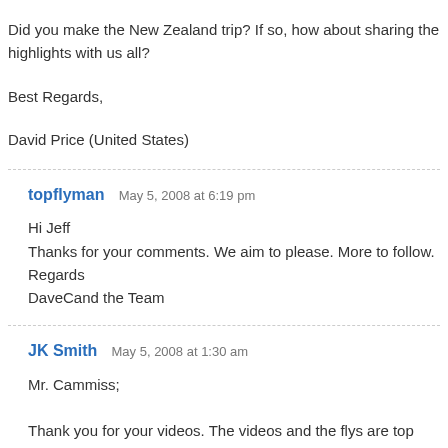Did you make the New Zealand trip? If so, how about sharing the highlights with us all?
Best Regards,
David Price (United States)
topflyman   May 5, 2008 at 6:19 pm

Hi Jeff
Thanks for your comments. We aim to please. More to follow.
Regards
DaveCand the Team
JK Smith   May 5, 2008 at 1:30 am

Mr. Cammiss;

Thank you for your videos. The videos and the flys are top notch